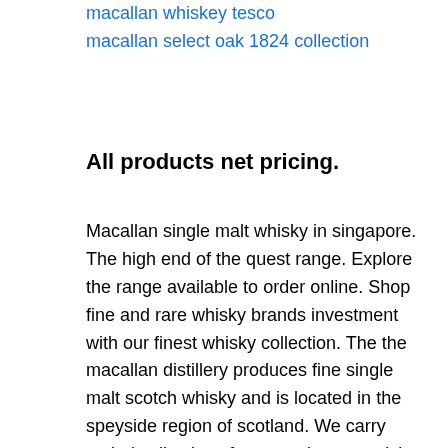macallan whiskey tesco
macallan select oak 1824 collection
All products net pricing.
Macallan single malt whisky in singapore. The high end of the quest range. Explore the range available to order online. Shop fine and rare whisky brands investment with our finest whisky collection. The the macallan distillery produces fine single malt scotch whisky and is located in the speyside region of scotland. We carry varied collections from rare japanese islay bourbon amongst many others. Buy now s 17 005 00 9 500 00 this 30 year old expression forms part of the the macallan core product range. If you are not sure whether to purchase macallan whiskey you might want to check out these products from johnnie walker nikka and suntory. Macallan 30 years fine oak 3890 available at